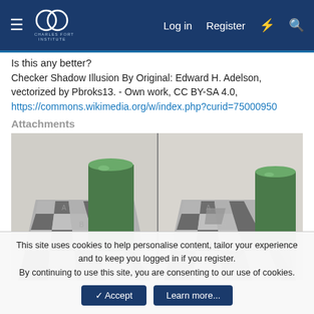Charles Fort Institute — Log in | Register
Is this any better?
Checker Shadow Illusion By Original: Edward H. Adelson, vectorized by Pbroks13. - Own work, CC BY-SA 4.0, https://commons.wikimedia.org/w/index.php?curid=75000950
Attachments
[Figure (illustration): Two side-by-side renderings of the Checker Shadow Illusion: a checkerboard with a green cylinder casting a shadow. Square A appears dark and square B appears light, but they are the same shade of grey. The right image shows connecting lines between the squares to demonstrate they are the same colour.]
This site uses cookies to help personalise content, tailor your experience and to keep you logged in if you register.
By continuing to use this site, you are consenting to our use of cookies.